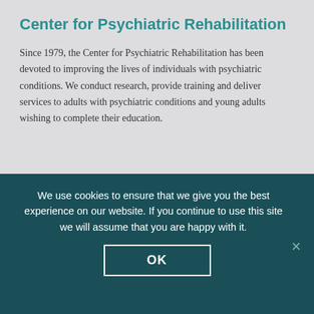Center for Psychiatric Rehabilitation
Since 1979, the Center for Psychiatric Rehabilitation has been devoted to improving the lives of individuals with psychiatric conditions. We conduct research, provide training and deliver services to adults with psychiatric conditions and young adults wishing to complete their education.
We use cookies to ensure that we give you the best experience on our website. If you continue to use this site we will assume that you are happy with it.
OK